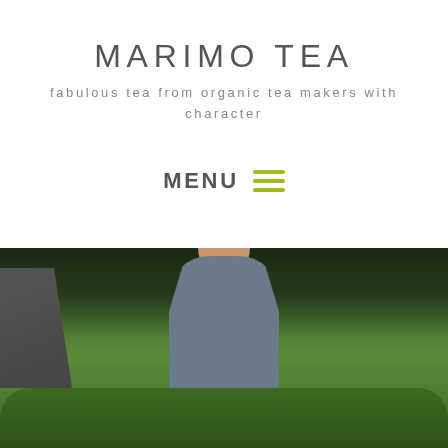MARIMO TEA
fabulous tea from organic tea makers with character
MENU
[Figure (photo): A man in a grey t-shirt standing with hands on hips in a lush green tea field, with trees in the background and a road visible on the left side.]